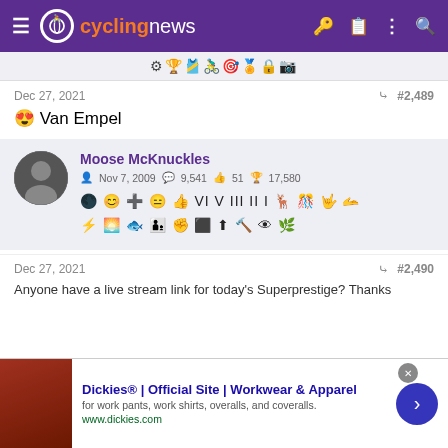cyclingnews
Dec 27, 2021  #2,489
😍 Van Empel
Moose McKnuckles — Nov 7, 2009 — 9,541 — 51 — 17,580
Dec 27, 2021  #2,490
Anyone have a live stream link for today's Superprestige? Thanks
Dickies® | Official Site | Workwear & Apparel — for work pants, work shirts, overalls, and coveralls. www.dickies.com